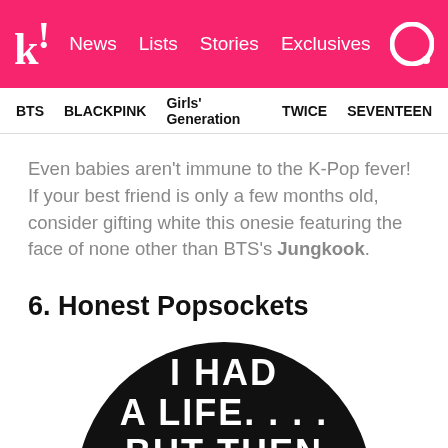k! News Lists Stories Exclusives
BTS  BLACKPINK  Girls' Generation  TWICE  SEVENTEEN
Even babies aren't immune to the K-Pop fever! If your best friend is only a few months old, consider gifting white this onesie featuring the face of none other than BTS's Jungkook.
6. Honest Popsockets
[Figure (photo): Black circular popsocket with white bold text reading 'I HAD A LIFE.... BUT THEN']